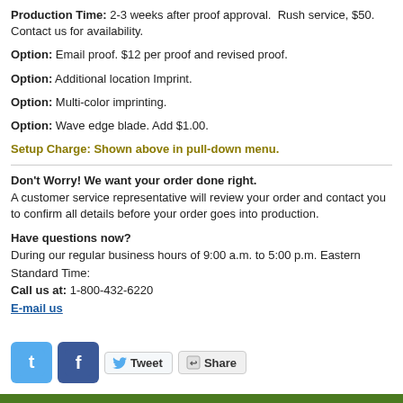Production Time: 2-3 weeks after proof approval. Rush service, $50. Contact us for availability.
Option: Email proof. $12 per proof and revised proof.
Option: Additional location Imprint.
Option: Multi-color imprinting.
Option: Wave edge blade. Add $1.00.
Setup Charge: Shown above in pull-down menu.
Don't Worry! We want your order done right. A customer service representative will review your order and contact you to confirm all details before your order goes into production.
Have questions now? During our regular business hours of 9:00 a.m. to 5:00 p.m. Eastern Standard Time: Call us at: 1-800-432-6220 E-mail us
[Figure (other): Twitter icon, Facebook icon, Tweet button, Share button]
Copyright©1998 & 2022 Advantage Advertising LLC - Barlow Knives Located in Salem, Youngstown, Ohio, United States E-mail us